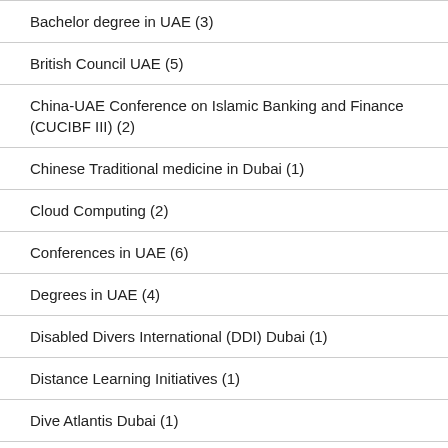Bachelor degree in UAE (3)
British Council UAE (5)
China-UAE Conference on Islamic Banking and Finance (CUCIBF III) (2)
Chinese Traditional medicine in Dubai (1)
Cloud Computing (2)
Conferences in UAE (6)
Degrees in UAE (4)
Disabled Divers International (DDI) Dubai (1)
Distance Learning Initiatives (1)
Dive Atlantis Dubai (1)